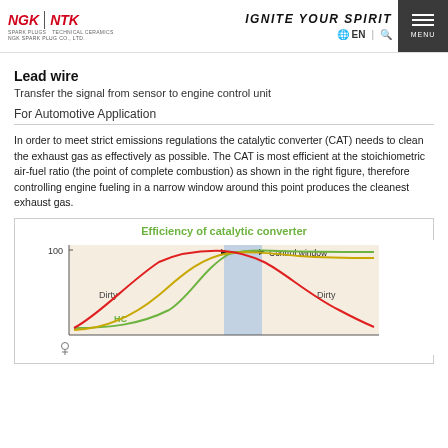NGK | NTK — IGNITE YOUR SPIRIT — EN — MENU
Lead wire
Transfer the signal from sensor to engine control unit
For Automotive Application
In order to meet strict emissions regulations the catalytic converter (CAT) needs to clean the exhaust gas as effectively as possible. The CAT is most efficient at the stoichiometric air-fuel ratio (the point of complete combustion) as shown in the right figure, therefore controlling engine fueling in a narrow window around this point produces the cleanest exhaust gas.
[Figure (continuous-plot): Efficiency of catalytic converter chart showing conversion efficiency (%) vs air-fuel ratio. Three curves: HC (green), CO (yellow), and NOx (red). A shaded blue 'Control window' region is marked at the stoichiometric point (~100% efficiency). 'Dirty' labels appear on both sides. Y-axis goes to 100.]